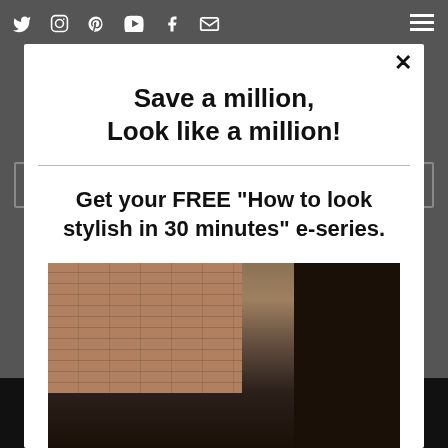Social icons (Twitter, Instagram, Pinterest, YouTube, Facebook, Email) and hamburger menu
Save a million, Look like a million!
Get your FREE "How to look stylish in 30 minutes" e-series.
[Figure (photo): Fashion photo of a woman with sunglasses and blonde hair in front of a brick building, partial view]